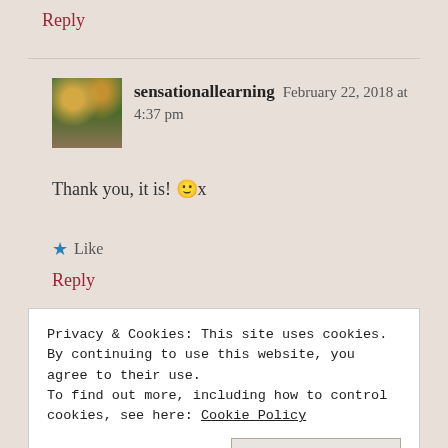Reply
sensationallearning  February 22, 2018 at 4:37 pm
Thank you, it is! 🙂 x
★ Like
Reply
Privacy & Cookies: This site uses cookies. By continuing to use this website, you agree to their use.
To find out more, including how to control cookies, see here: Cookie Policy
Close and accept